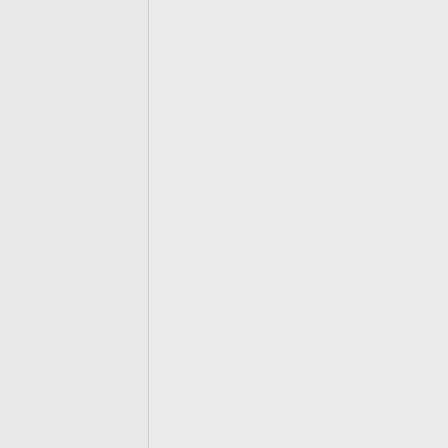problem occurs. Update: Made a blank game file, and tried each of the 4 pieces of music my friend sent